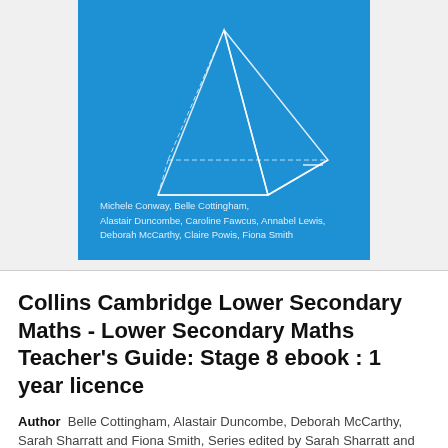[Figure (illustration): Book cover with blue background showing a white line-art pyramid (square-based pyramid) in the center. Author names listed at the bottom left: Michele Conway, Belle Cottingham, Alastair Duncombe, Caroline Fawcus, Annabel Lewis, Deborah McCarthy, Claire Powis, Fiona Smith.]
Collins Cambridge Lower Secondary Maths - Lower Secondary Maths Teacher's Guide: Stage 8 ebook : 1 year licence
Author  Belle Cottingham, Alastair Duncombe, Deborah McCarthy, Sarah Sharratt and Fiona Smith, Series edited by Sarah Sharratt and Caroline Fawcus
Format  ebook